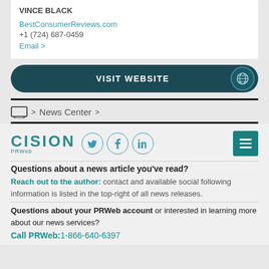VINCE BLACK
BestConsumerReviews.com
+1 (724) 687-0459
Email >
[Figure (other): VISIT WEBSITE button with globe icon, dark teal rounded rectangle]
> News Center >
[Figure (logo): CISION PRWeb logo with social media icons (Twitter, Facebook, LinkedIn) and menu button]
Questions about a news article you've read?
Reach out to the author: contact and available social following information is listed in the top-right of all news releases.
Questions about your PRWeb account or interested in learning more about our news services?
Call PRWeb:1-866-640-6397